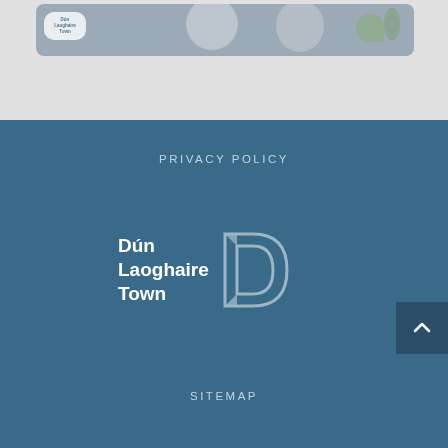[Figure (screenshot): Top portion of a webpage showing a rounded image card with people photos and a Dún Laoghaire Town logo badge, on a light grey background]
PRIVACY POLICY
[Figure (logo): Dún Laoghaire Town logo with bold white text and a stylised outline D symbol on dark blue background]
[Figure (other): Back to top button with upward chevron arrow on dark blue background]
SITEMAP